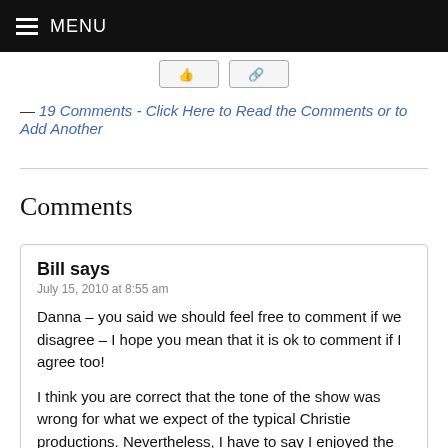MENU
— 19 Comments - Click Here to Read the Comments or to Add Another
Comments
Bill says
July 15, 2010 at 8:55 am

Danna – you said we should feel free to comment if we disagree – I hope you mean that it is ok to comment if I agree too!

I think you are correct that the tone of the show was wrong for what we expect of the typical Christie productions. Nevertheless, I have to say I enjoyed the movie for what it was, and I can see why the producers/director went for a darker tone.